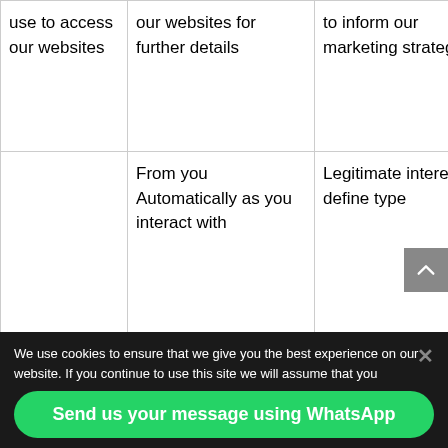|  |  |  |
| --- | --- | --- |
| use to access our websites | our websites for further details | to inform our marketing strategy |
|  | From you
Automatically as you interact with | Legitimate interest: to define type |
We use cookies to ensure that we give you the best experience on our website. If you continue to use this site we will assume that you
Send us your message using WhatsApp